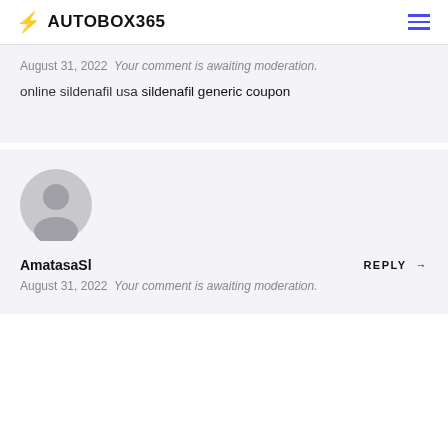AUTOBOX365
August 31, 2022  Your comment is awaiting moderation.
online sildenafil usa sildenafil generic coupon
[Figure (illustration): Generic user avatar circle icon in light gray]
AmatasaSl
August 31, 2022  Your comment is awaiting moderation.